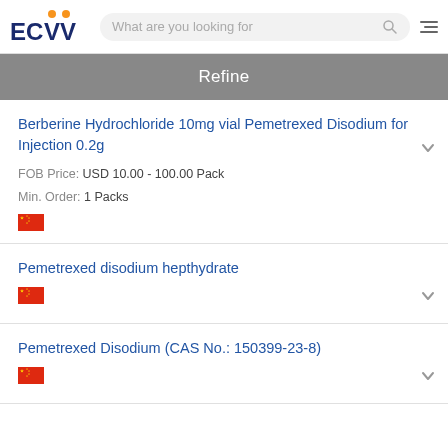[Figure (logo): ECVV logo with orange dots above V letters and search bar]
Refine
Berberine Hydrochloride 10mg vial Pemetrexed Disodium for Injection 0.2g
FOB Price: USD 10.00 - 100.00 Pack
Min. Order: 1 Packs
Pemetrexed disodium hepthydrate
Pemetrexed Disodium (CAS No.: 150399-23-8)